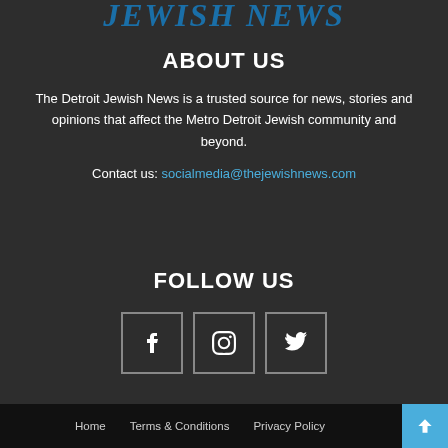JEWISH NEWS
ABOUT US
The Detroit Jewish News is a trusted source for news, stories and opinions that affect the Metro Detroit Jewish community and beyond.
Contact us: socialmedia@thejewishnews.com
FOLLOW US
[Figure (other): Social media icon buttons for Facebook, Instagram, and Twitter in bordered square boxes]
Home   Terms & Conditions   Privacy Policy